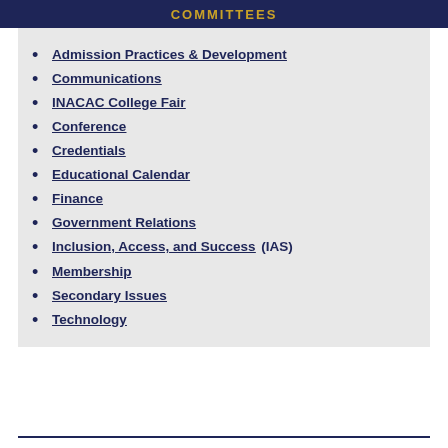COMMITTEES
Admission Practices & Development
Communications
INACAC College Fair
Conference
Credentials
Educational Calendar
Finance
Government Relations
Inclusion, Access, and Success (IAS)
Membership
Secondary Issues
Technology